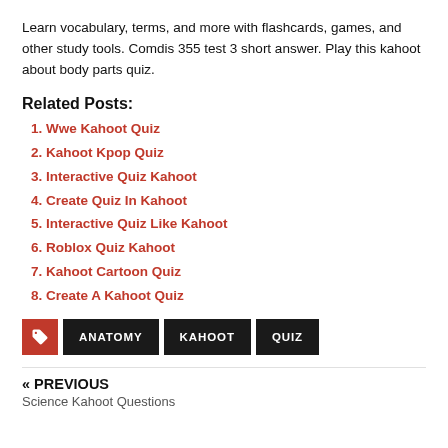Learn vocabulary, terms, and more with flashcards, games, and other study tools. Comdis 355 test 3 short answer. Play this kahoot about body parts quiz.
Related Posts:
Wwe Kahoot Quiz
Kahoot Kpop Quiz
Interactive Quiz Kahoot
Create Quiz In Kahoot
Interactive Quiz Like Kahoot
Roblox Quiz Kahoot
Kahoot Cartoon Quiz
Create A Kahoot Quiz
ANATOMY  KAHOOT  QUIZ
« PREVIOUS
Science Kahoot Questions